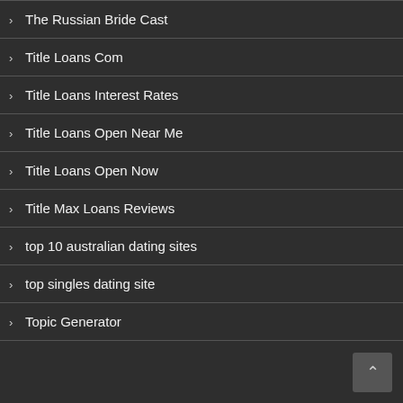The Russian Bride Cast
Title Loans Com
Title Loans Interest Rates
Title Loans Open Near Me
Title Loans Open Now
Title Max Loans Reviews
top 10 australian dating sites
top singles dating site
Topic Generator